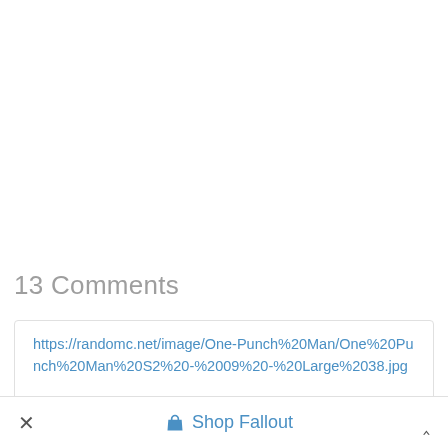13 Comments
https://randomc.net/image/One-Punch%20Man/One%20Punch%20Man%20S2%20-%2009%20-%20Large%2038.jpg
× Shop Fallout ^